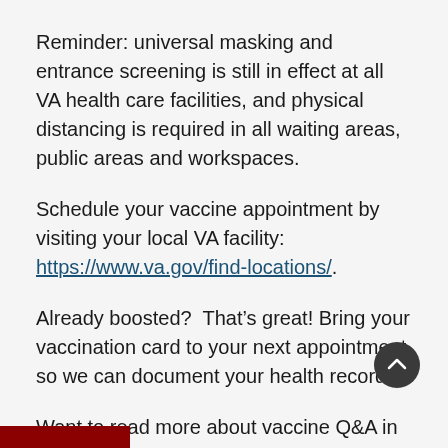Reminder: universal masking and entrance screening is still in effect at all VA health care facilities, and physical distancing is required in all waiting areas, public areas and workspaces.
Schedule your vaccine appointment by visiting your local VA facility: https://www.va.gov/find-locations/.
Already boosted?  That's great! Bring your vaccination card to your next appointment so we can document your health record.
Want to read more about vaccine Q&A in the "You Asked, We Answered" series, VA answers st pressing and most asked questions.